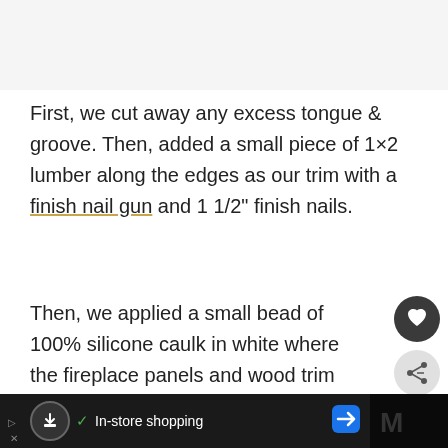First, we cut away any excess tongue & groove. Then, added a small piece of 1×2 lumber along the edges as our trim with a finish nail gun and 1 1/2" finish nails.
Then, we applied a small bead of 100% silicone caulk in white where the fireplace panels and wood trim met and where the panels and the ceiling came together. This gives it a nice, professional-looking finish.
[Figure (screenshot): Social media UI overlay with heart/favorite button (dark circle), share button (light circle with share icon), and a 'What's Next' recommendation panel showing 'Easy DIY Boho Wall Decor...']
[Figure (screenshot): Bottom advertisement bar with dark background showing shopping icon, checkmark, 'In-store shopping' text, navigation arrow button, and partial video thumbnail on right side]